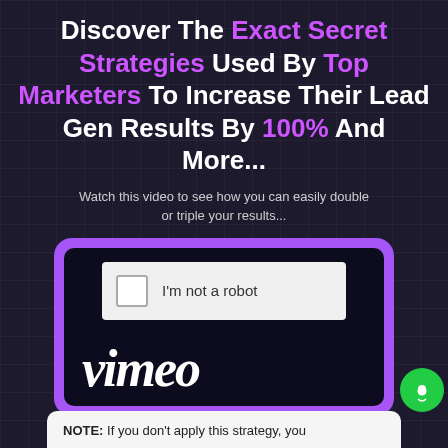Discover The Exact Secret Strategies Used By Top Marketers To Increase Their Lead Gen Results By 100% And More...
Watch this video to see how you can easily double or triple your results...
[Figure (screenshot): Video player with CAPTCHA 'I'm not a robot' overlay and Vimeo branding, surrounded by a purple rounded border. A green chat button is visible in the bottom right corner.]
NOTE: If you don't apply this strategy, you